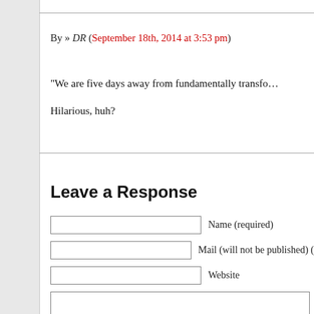By » DR (September 18th, 2014 at 3:53 pm)
“We are five days away from fundamentally transfo…
Hilarious, huh?
Leave a Response
Name (required)
Mail (will not be published) (
Website